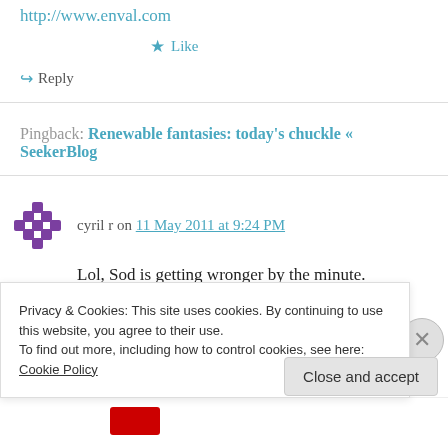http://www.enval.com
★ Like
↪ Reply
Pingback: Renewable fantasies: today's chuckle « SeekerBlog
cyril r on 11 May 2011 at 9:24 PM
Lol, Sod is getting wronger by the minute.
Biogas plants are highly limited in primary...
Privacy & Cookies: This site uses cookies. By continuing to use this website, you agree to their use.
To find out more, including how to control cookies, see here: Cookie Policy
Close and accept